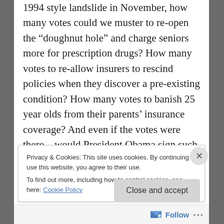1994 style landslide in November, how many votes could we muster to re-open the “doughnut hole” and charge seniors more for prescription drugs? How many votes to re-allow insurers to rescind policies when they discover a pre-existing condition? How many votes to banish 25 year olds from their parents’ insurance coverage? And even if the votes were there – would President Obama sign such a repeal?
Privacy & Cookies: This site uses cookies. By continuing to use this website, you agree to their use.
To find out more, including how to control cookies, see here: Cookie Policy
Close and accept
Follow ...